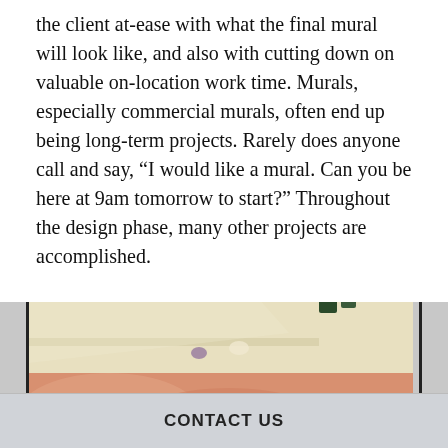the client at-ease with what the final mural will look like, and also with cutting down on valuable on-location work time. Murals, especially commercial murals, often end up being long-term projects. Rarely does anyone call and say, “I would like a mural. Can you be here at 9am tomorrow to start?” Throughout the design phase, many other projects are accomplished.
[Figure (photo): A photograph of a mural painting in progress on a canvas or board, showing a sky scene with clouds painted in blue, cream, and orange/pink tones, with art supplies visible in the background.]
CONTACT US